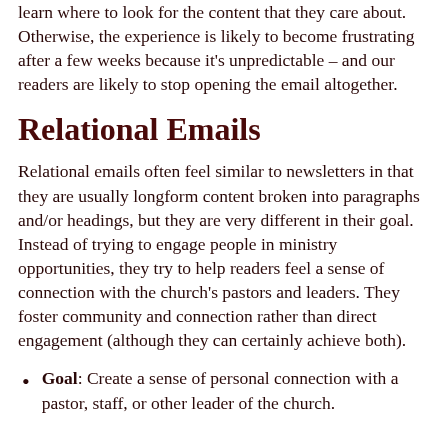learn where to look for the content that they care about. Otherwise, the experience is likely to become frustrating after a few weeks because it's unpredictable – and our readers are likely to stop opening the email altogether.
Relational Emails
Relational emails often feel similar to newsletters in that they are usually longform content broken into paragraphs and/or headings, but they are very different in their goal. Instead of trying to engage people in ministry opportunities, they try to help readers feel a sense of connection with the church's pastors and leaders. They foster community and connection rather than direct engagement (although they can certainly achieve both).
Goal: Create a sense of personal connection with a pastor, staff, or other leader of the church.